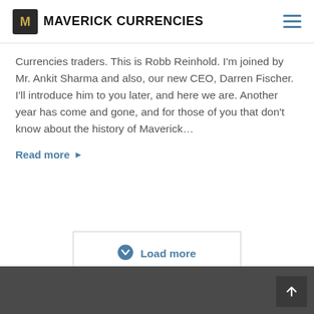MAVERICK CURRENCIES
Currencies traders. This is Robb Reinhold. I'm joined by Mr. Ankit Sharma and also, our new CEO, Darren Fischer. I'll introduce him to you later, and here we are. Another year has come and gone, and for those of you that don't know about the history of Maverick...
Read more
Load more